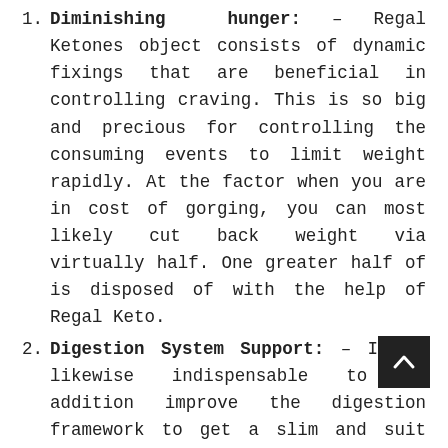Diminishing hunger: – Regal Ketones object consists of dynamic fixings that are beneficial in controlling craving. This is so big and precious for controlling the consuming events to limit weight rapidly. At the factor when you are in cost of gorging, you can most likely cut back weight via virtually half. One greater half of is disposed of with the help of Regal Keto.
Digestion System Support: – It is likewise indispensable to in addition improve the digestion framework to get a slim and suit body. At the factor when it improves, you don't want to trip any pressure view that digestion assumes a vast part. Along the…